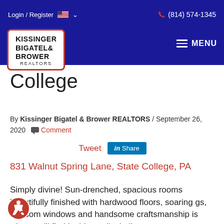Login / Register  (814) 574-1345
[Figure (logo): Kissinger Bigatel & Brower REALTORS logo in white box with red border]
College
By Kissinger Bigatel & Brower REALTORS / September 26, 2020 Comment
Tweet  in Share
831 Walnut Spring Lane, State College, PA
Simply divine! Sun-drenched, spacious rooms beautifully finished with hardwood floors, soaring gs, transom windows and handsome craftsmanship is what you'll find in this quality built